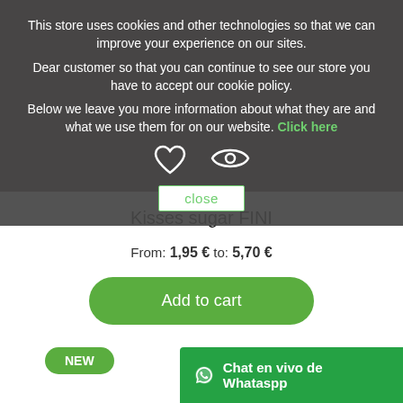This store uses cookies and other technologies so that we can improve your experience on our sites.
Dear customer so that you can continue to see our store you have to accept our cookie policy.
Below we leave you more information about what they are and what we use them for on our website. Click here
[Figure (other): Close button with heart and eye icons below the cookie banner text]
Kisses sugar FINI
From: 1,95 € to: 5,70 €
Add to cart
NEW
Chat en vivo de Whataspp